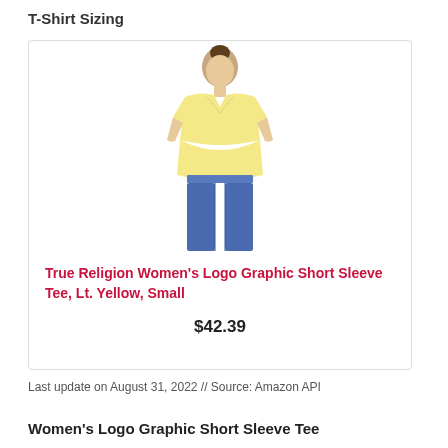T-Shirt Sizing
[Figure (photo): Woman wearing a light yellow v-neck short sleeve t-shirt with jeans, product photo for True Religion Women's Logo Graphic Short Sleeve Tee]
True Religion Women's Logo Graphic Short Sleeve Tee, Lt. Yellow, Small
$42.39
Last update on August 31, 2022 // Source: Amazon API
Women's Logo Graphic Short Sleeve Tee